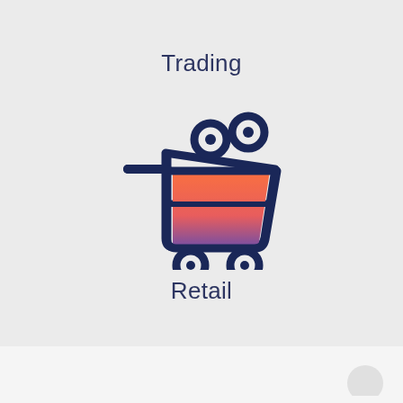Trading
[Figure (illustration): Shopping cart icon with gradient fill (orange to purple) and dark navy outline, with two wheels and two circular handles at top]
Retail